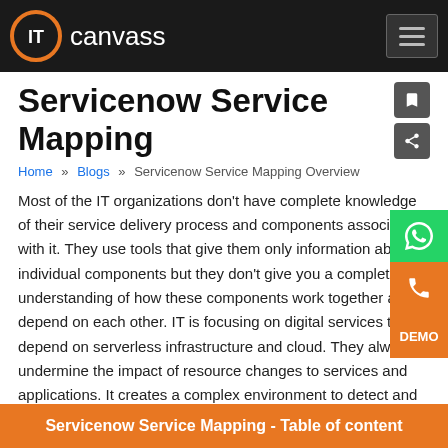IT canvass
Servicenow Service Mapping
Home » Blogs » Servicenow Service Mapping Overview
Most of the IT organizations don't have complete knowledge of their service delivery process and components associated with it. They use tools that give them only information about individual components but they don't give you a complete understanding of how these components work together and depend on each other. IT is focusing on digital services that depend on serverless infrastructure and cloud. They always undermine the impact of resource changes to services and applications. It creates a complex environment to detect and resolve service issues and outages or the process to prioritize the infrastructural issues.
Servicenow Service Mapping - Table of content